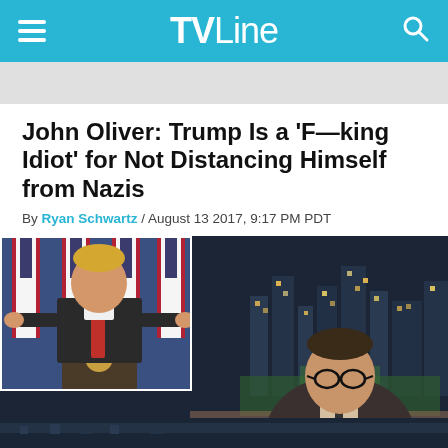TVLine
John Oliver: Trump Is a 'F—king Idiot' for Not Distancing Himself from Nazis
By Ryan Schwartz / August 13 2017, 9:17 PM PDT
[Figure (screenshot): TV screenshot showing a man (John Oliver) in suit and glasses speaking at a desk with a city skyline at night in background, with an inset image of Donald Trump speaking at a podium with American flags]